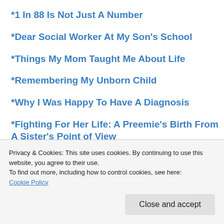*1 In 88 Is Not Just A Number
*Dear Social Worker At My Son's School
*Things My Mom Taught Me About Life
*Remembering My Unborn Child
*Why I Was Happy To Have A Diagnosis
*Fighting For Her Life: A Preemie's Birth From A Sister's Point of View
Privacy & Cookies: This site uses cookies. By continuing to use this website, you agree to their use.
To find out more, including how to control cookies, see here: Cookie Policy
Close and accept